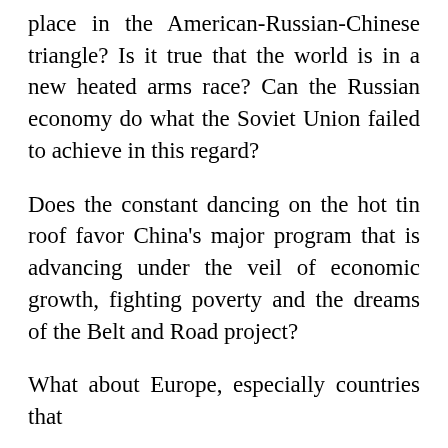place in the American-Russian-Chinese triangle? Is it true that the world is in a new heated arms race? Can the Russian economy do what the Soviet Union failed to achieve in this regard?
Does the constant dancing on the hot tin roof favor China's major program that is advancing under the veil of economic growth, fighting poverty and the dreams of the Belt and Road project?
What about Europe, especially countries that